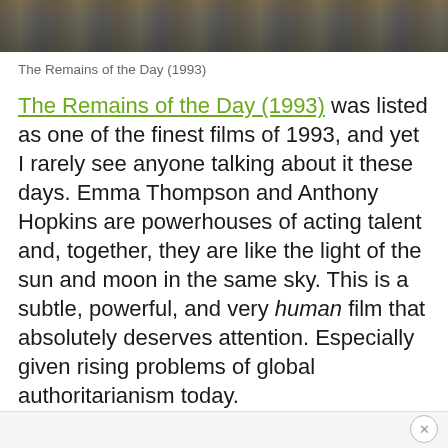[Figure (photo): Top portion of a film still or movie screenshot showing people in dark clothing, partially cropped]
The Remains of the Day (1993)
The Remains of the Day (1993) was listed as one of the finest films of 1993, and yet I rarely see anyone talking about it these days. Emma Thompson and Anthony Hopkins are powerhouses of acting talent and, together, they are like the light of the sun and moon in the same sky. This is a subtle, powerful, and very human film that absolutely deserves attention. Especially given rising problems of global authoritarianism today.